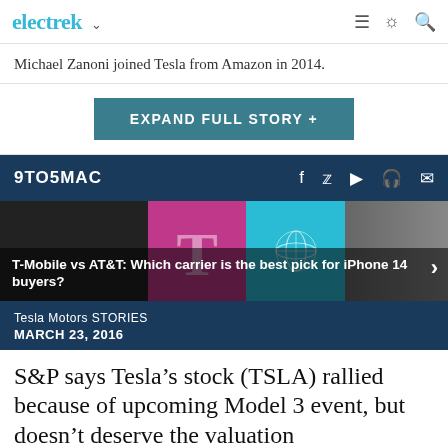electrek
Michael Zanoni joined Tesla from Amazon in 2014.
EXPAND FULL STORY +
9TO5MAC
[Figure (photo): Featured image showing T-Mobile vs AT&T carrier comparison with T-Mobile magenta T logo and AT&T blue globe logo with dark phone silhouette]
T-Mobile vs AT&T: Which carrier is the best pick for iPhone 14 buyers?
Tesla Motors STORIES
MARCH 23, 2016
S&P says Tesla’s stock (TSLA) rallied because of upcoming Model 3 event, but doesn’t deserve the valuation
Fred Lambert - Mar. 23rd 2016 3:55 pm PT @FredericLambert